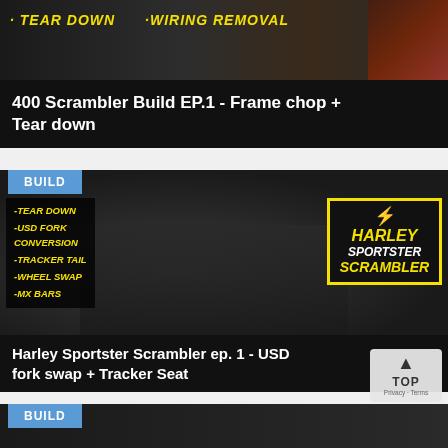[Figure (screenshot): Video thumbnail showing '400 Scrambler Build' with yellow text labels 'TEAR DOWN' and 'WIRING REMOVAL' on dark background]
400 Scrambler Build EP.1 - Frame chop + Tear down
[Figure (screenshot): Video thumbnail for Harley Sportster Scrambler build showing man with motorcycle, yellow text bullet points: TEAR DOWN, USD FORK CONVERSION, TRACKER TAIL, WHEEL SWAP, MX BARS, and yellow 'HARLEY SPORTSTER SCRAMBLER' box with lightning bolt. Blue 'BUILD' badge overlay.]
Harley Sportster Scrambler ep. 1 - USD fork swap + Tracker Seat
[Figure (screenshot): Partial video thumbnail at bottom with blue BUILD badge]